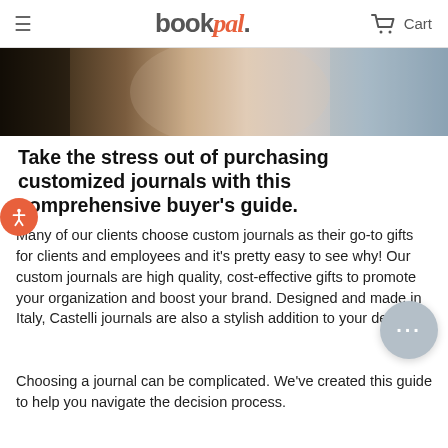bookpal. — Cart
[Figure (photo): Partial view of a person reading or writing, with dark background on left and lighter tones on right, cropped hero image.]
Take the stress out of purchasing customized journals with this comprehensive buyer's guide.
Many of our clients choose custom journals as their go-to gifts for clients and employees and it's pretty easy to see why! Our custom journals are high quality, cost-effective gifts to promote your organization and boost your brand. Designed and made in Italy, Castelli journals are also a stylish addition to your desk
Choosing a journal can be complicated. We've created this guide to help you navigate the decision process.